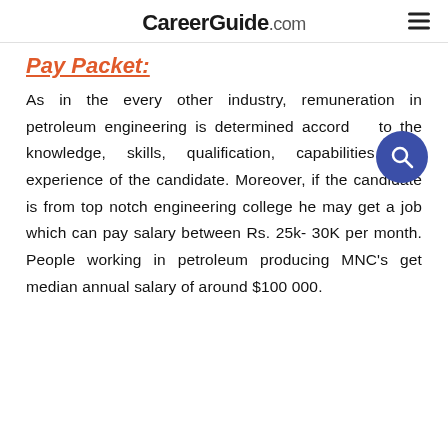CareerGuide.com
Pay Packet:
As in the every other industry, remuneration in petroleum engineering is determined according to the knowledge, skills, qualification, capabilities and experience of the candidate. Moreover, if the candidate is from top notch engineering college he may get a job which can pay salary between Rs. 25k- 30K per month. People working in petroleum producing MNC's get median annual salary of around $100 000.